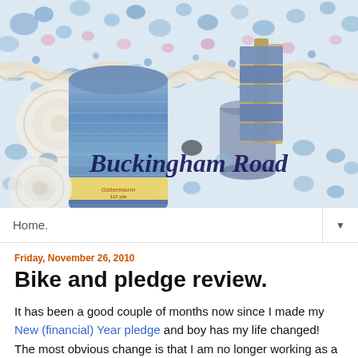[Figure (photo): Blog header image showing sewing supplies — a spool of blue Gutermann thread, lace trim, blue ribbon on a wooden holder, and small metal pins, all arranged on blue and pink floral fabric. Text overlay reads 'Buckingham Road' in dark blue italic/script font.]
Home. ▼
Friday, November 26, 2010
Bike and pledge review.
It has been a good couple of months now since I made my New (financial) Year pledge and boy has my life changed! The most obvious change is that I am no longer working as a